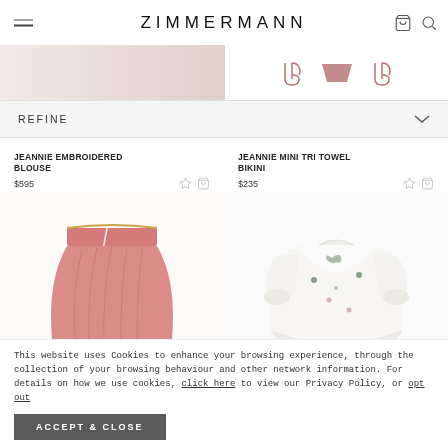ZIMMERMANN
[Figure (screenshot): Promo banner strip with a pink/blush fabric image on the left and Virgo zodiac/triangle icons on the right]
REFINE
JEANNIE EMBROIDERED BLOUSE $595
JEANNIE MINI TRI TOWEL BIKINI $235
[Figure (photo): Pink gathered mini skirt with gold chain belt and white tie detail]
[Figure (photo): White embroidered blouse with butterfly and floral motifs]
This website uses Cookies to enhance your browsing experience, through the collection of your browsing behaviour and other network information. For details on how we use cookies, click here to view our Privacy Policy, or opt out
ACCEPT & CLOSE